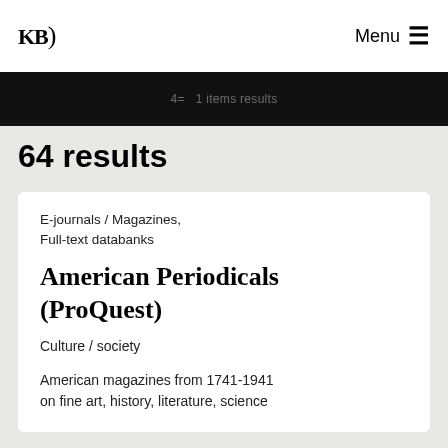KB  Menu ☰
4= 1 items results
64 results
E-journals / Magazines, Full-text databanks
American Periodicals (ProQuest)
Culture / society
American magazines from 1741-1941 on fine art, history, literature, science